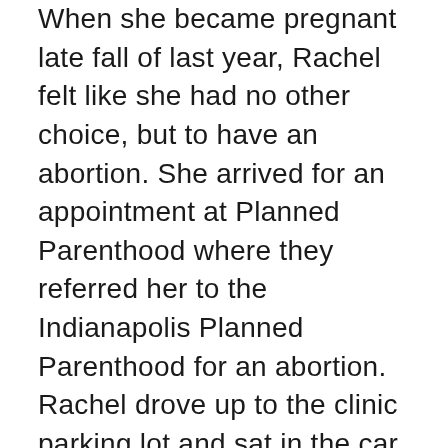When she became pregnant late fall of last year, Rachel felt like she had no other choice, but to have an abortion. She arrived for an appointment at Planned Parenthood where they referred her to the Indianapolis Planned Parenthood for an abortion. Rachel drove up to the clinic parking lot and sat in the car. She pulled out her phone before going into the building and called one of the nurses at BsideU for Life. Through her conversation with the nurse and later the campus outreach coordinator. Rachel decided to leave the Planned Parenthood parking lot that day and not undergo an abortion. Once she was connected with Alex, the campus outreach coordinator, she received support and assistance as she navigated school and family life, knowing she would be having her third child. Alex, the campus outreach coordinator, threw Rachel a baby shower in April